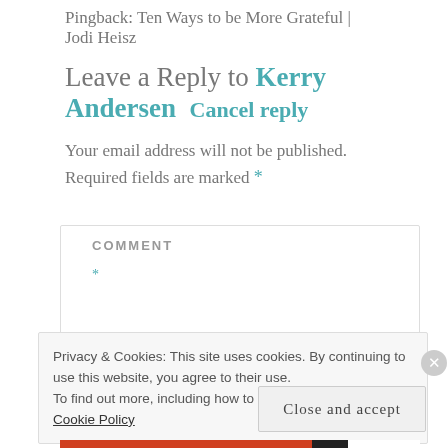Pingback: Ten Ways to be More Grateful | Jodi Heisz
Leave a Reply to Kerry Andersen  Cancel reply
Your email address will not be published. Required fields are marked *
COMMENT
*
Privacy & Cookies: This site uses cookies. By continuing to use this website, you agree to their use.
To find out more, including how to control cookies, see here: Cookie Policy
Close and accept